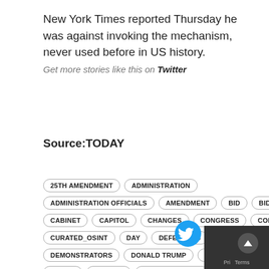New York Times reported Thursday he was against invoking the mechanism, never used before in US history.
Get more stories like this on Twitter
Source:TODAY
25TH AMENDMENT
ADMINISTRATION
ADMINISTRATION OFFICIALS
AMENDMENT
BID
BIDEN
CABINET
CAPITOL
CHANGES
CONGRESS
CORONAVIRUS
CURATED_OSINT
DAY
DEFENDERS
DEMOCRATS
DEMONSTRATORS
DONALD TRUMP
ELECTION
FORMAT
FRIDAY
HISTORY
HOUSE SPEAKER
IMPEACHMENT
INAUGURATION
INTRUDERS
JOE BIDEN
LOYALIST
MECHANISM
MEDIA REPORTS
MIKE PENCE
MOB
MONDAY
MOVE
MULTIPLE
NANCY PELOSI
NEW YORK TIMES
NOVEMBER
OFFICE
PENCE
PLACE